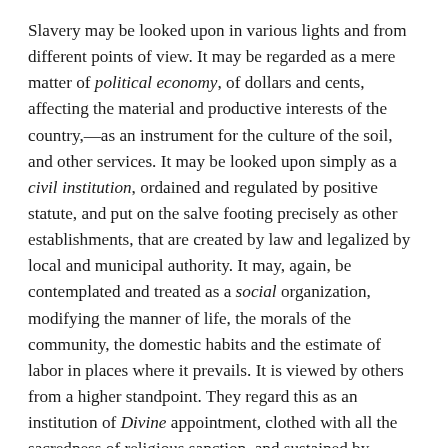Slavery may be looked upon in various lights and from different points of view. It may be regarded as a mere matter of political economy, of dollars and cents, affecting the material and productive interests of the country,—as an instrument for the culture of the soil, and other services. It may be looked upon simply as a civil institution, ordained and regulated by positive statute, and put on the salve footing precisely as other establishments, that are created by law and legalized by local and municipal authority. It may, again, be contemplated and treated as a social organization, modifying the manner of life, the morals of the community, the domestic habits and the estimate of labor in places where it prevails. It is viewed by others from a higher standpoint. They regard this as an institution of Divine appointment, clothed with all the sacredness of religious sanction, and sustained by Scriptural authority. They treat it as belonging to the normal condition of society, as part and parcel of the original constitution under which man was placed. We